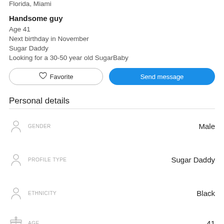Florida, Miami
Handsome guy
Age 41
Next birthday in November
Sugar Daddy
Looking for a 30-50 year old SugarBaby
Personal details
GENDER — Male
PROFILE TYPE — Sugar Daddy
ETHNICITY — Black
AGE — 41